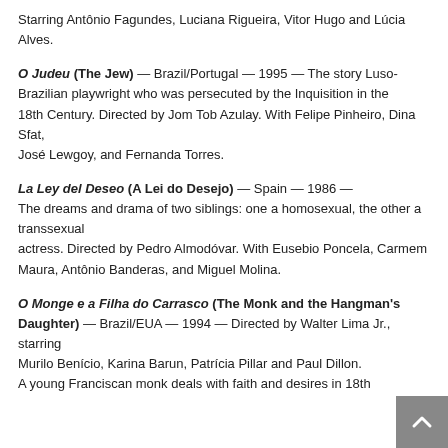Starring Antônio Fagundes, Luciana Rigueira, Vitor Hugo and Lúcia Alves.
O Judeu (The Jew) — Brazil/Portugal — 1995 — The story Luso-Brazilian playwright who was persecuted by the Inquisition in the 18th Century. Directed by Jom Tob Azulay. With Felipe Pinheiro, Dina Sfat, José Lewgoy, and Fernanda Torres.
La Ley del Deseo (A Lei do Desejo) — Spain — 1986 — The dreams and drama of two siblings: one a homosexual, the other a transsexual actress. Directed by Pedro Almodóvar. With Eusebio Poncela, Carmem Maura, Antônio Banderas, and Miguel Molina.
O Monge e a Filha do Carrasco (The Monk and the Hangman's Daughter) — Brazil/EUA — 1994 — Directed by Walter Lima Jr., starring Murilo Benício, Karina Barun, Patrícia Pillar and Paul Dillon. A young Franciscan monk deals with faith and desires in 18th